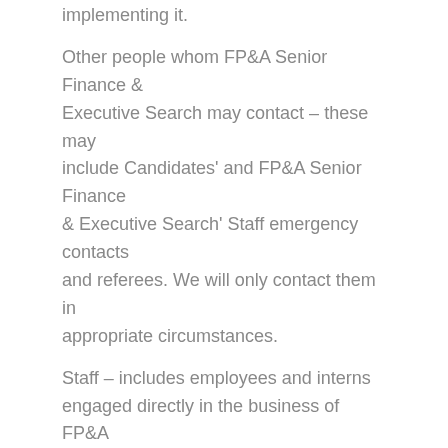implementing it.
Other people whom FP&A Senior Finance & Executive Search may contact – these may include Candidates' and FP&A Senior Finance & Executive Search' Staff emergency contacts and referees. We will only contact them in appropriate circumstances.
Staff – includes employees and interns engaged directly in the business of FP&A Senior Finance & Executive Search (or who have accepted an offer to be engaged) as well as certain other workers engaged in the business of providing services to FP&A Senior